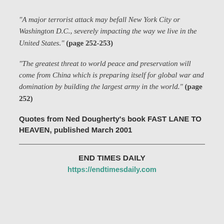“A major terrorist attack may befall New York City or Washington D.C., severely impacting the way we live in the United States.” (page 252-253)
“The greatest threat to world peace and preservation will come from China which is preparing itself for global war and domination by building the largest army in the world.” (page 252)
Quotes from Ned Dougherty’s book FAST LANE TO HEAVEN, published March 2001
END TIMES DAILY
https://endtimesdaily.com